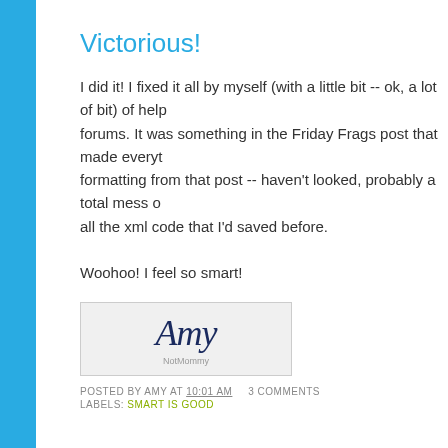Victorious!
I did it! I fixed it all by myself (with a little bit -- ok, a lot of bit) of help forums. It was something in the Friday Frags post that made everyth formatting from that post -- haven't looked, probably a total mess o all the xml code that I'd saved before.

Woohoo! I feel so smart!
[Figure (illustration): Signature image showing handwritten cursive text 'Amy' in dark navy/blue color on a light gray background]
POSTED BY AMY AT 10:01 AM   3 COMMENTS
LABELS: SMART IS GOOD
Progress...
Ok, got the sidebar to show up again. I think what messed it up wa But now I have to figure out how to get the sidebar content back wh